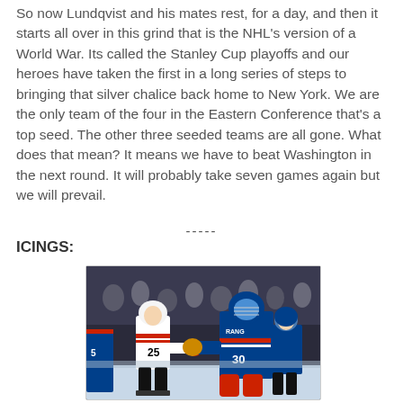So now Lundqvist and his mates rest, for a day, and then it starts all over in this grind that is the NHL's version of a World War. Its called the Stanley Cup playoffs and our heroes have taken the first in a long series of steps to bringing that silver chalice back home to New York. We are the only team of the four in the Eastern Conference that's a top seed. The other three seeded teams are all gone. What does that mean? It means we have to beat Washington in the next round. It will probably take seven games again but we will prevail.
-----
ICINGS:
[Figure (photo): Hockey players shaking hands after a game; a goalie in a blue New York Rangers jersey (#30) shakes hands with an opposing player in a white away jersey; another Rangers player visible in the background.]
Photo: hockey post-game handshake scene